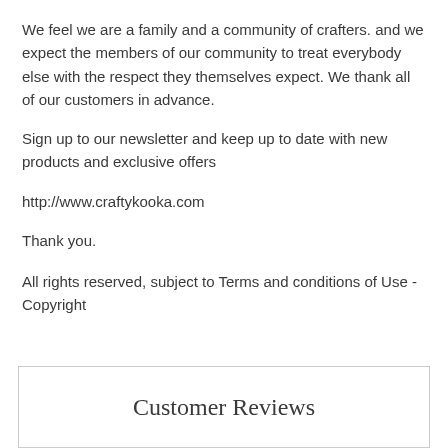We feel we are a family and a community of crafters. and we expect the members of our community to treat everybody else with the respect they themselves expect. We thank all of our customers in advance.
Sign up to our newsletter and keep up to date with new products and exclusive offers
http://www.craftykooka.com
Thank you.
All rights reserved, subject to Terms and conditions of Use - Copyright
Customer Reviews